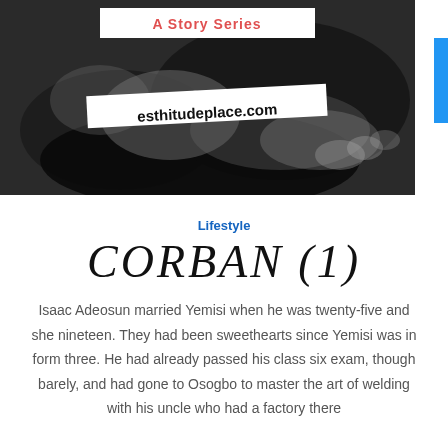[Figure (photo): Black and white photo of two hands clasped together, with a white banner overlay reading 'A Story Series' in red text and another banner reading 'esthitudeplace.com' in bold black text]
Lifestyle
CORBAN (1)
Isaac Adeosun married Yemisi when he was twenty-five and she nineteen. They had been sweethearts since Yemisi was in form three. He had already passed his class six exam, though barely, and had gone to Osogbo to master the art of welding with his uncle who had a factory there